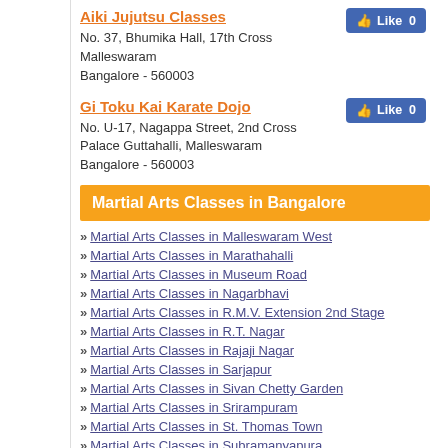Aiki Jujutsu Classes
No. 37, Bhumika Hall, 17th Cross
Malleswaram
Bangalore - 560003
[Figure (other): Facebook Like button showing Like 0]
Gi Toku Kai Karate Dojo
No. U-17, Nagappa Street, 2nd Cross
Palace Guttahalli, Malleswaram
Bangalore - 560003
[Figure (other): Facebook Like button showing Like 0]
Martial Arts Classes in Bangalore
» Martial Arts Classes in Malleswaram West
» Martial Arts Classes in Marathahalli
» Martial Arts Classes in Museum Road
» Martial Arts Classes in Nagarbhavi
» Martial Arts Classes in R.M.V. Extension 2nd Stage
» Martial Arts Classes in R.T. Nagar
» Martial Arts Classes in Rajaji Nagar
» Martial Arts Classes in Sarjapur
» Martial Arts Classes in Sivan Chetty Garden
» Martial Arts Classes in Srirampuram
» Martial Arts Classes in St. Thomas Town
» Martial Arts Classes in Subramanyapura